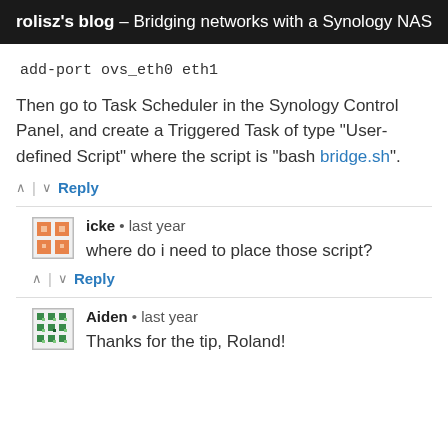rolisz's blog – Bridging networks with a Synology NAS
add-port ovs_eth0 eth1
Then go to Task Scheduler in the Synology Control Panel, and create a Triggered Task of type "User-defined Script" where the script is "bash bridge.sh".
↑ | ↓  Reply
icke · last year
where do i need to place those script?
↑ | ↓  Reply
Aiden · last year
Thanks for the tip, Roland!